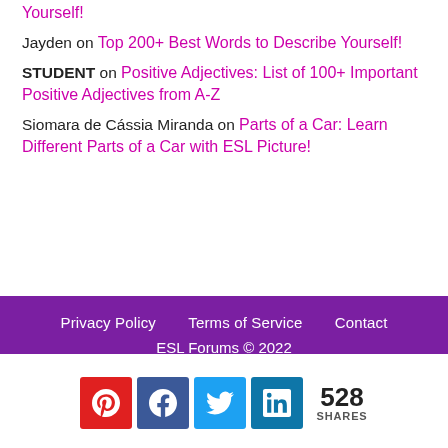Yourself!
Jayden on Top 200+ Best Words to Describe Yourself!
STUDENT on Positive Adjectives: List of 100+ Important Positive Adjectives from A-Z
Siomara de Cássia Miranda on Parts of a Car: Learn Different Parts of a Car with ESL Picture!
Privacy Policy   Terms of Service   Contact
ESL Forums © 2022
[Figure (other): Social share bar with Pinterest, Facebook, Twitter, LinkedIn icons and 528 SHARES count]